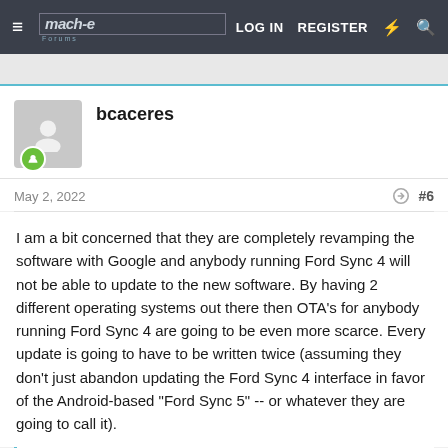Mache Forums — LOG IN  REGISTER
bcaceres
May 2, 2022  #6
I am a bit concerned that they are completely revamping the software with Google and anybody running Ford Sync 4 will not be able to update to the new software. By having 2 different operating systems out there then OTA's for anybody running Ford Sync 4 are going to be even more scarce. Every update is going to have to be written twice (assuming they don't just abandon updating the Ford Sync 4 interface in favor of the Android-based "Ford Sync 5" -- or whatever they are going to call it).
The Black Horse, Tiger John, Dtresca and 4 others